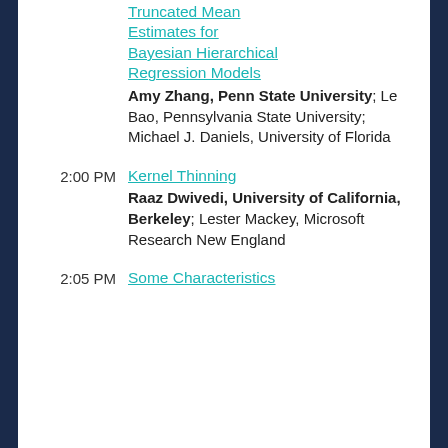Truncated Mean Estimates for Bayesian Hierarchical Regression Models (link) — Amy Zhang, Penn State University; Le Bao, Pennsylvania State University; Michael J. Daniels, University of Florida
2:00 PM — Kernel Thinning (link) — Raaz Dwivedi, University of California, Berkeley; Lester Mackey, Microsoft Research New England
2:05 PM — Some Characteristics (partial, cut off)